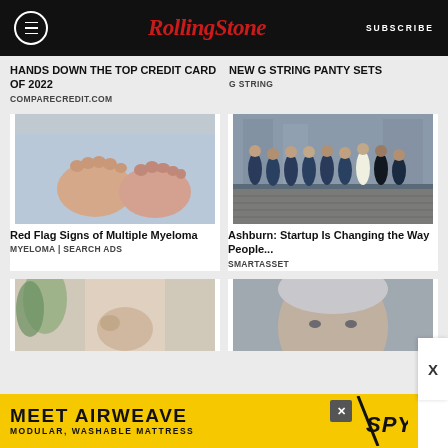RollingStone | SUBSCRIBE
Hands Down the Top Credit Card of 2022
COMPARECREDIT.COM
New G String Panty Sets
G STRING
[Figure (photo): Close-up photo of bare child feet on light blue background]
Red Flag Signs of Multiple Myeloma
MYELOMA | SEARCH ADS
[Figure (photo): Group of people in matching dark blue t-shirts standing together on a cobblestone street]
Ashburn: Startup Is Changing the Way People...
SMARTASSET
[Figure (photo): Pregnant woman in light clothing indoors]
[Figure (photo): Close-up of man's face with short grey hair]
MEET AIRWEAVE
MODULAR, WASHABLE MATTRESS
SPY